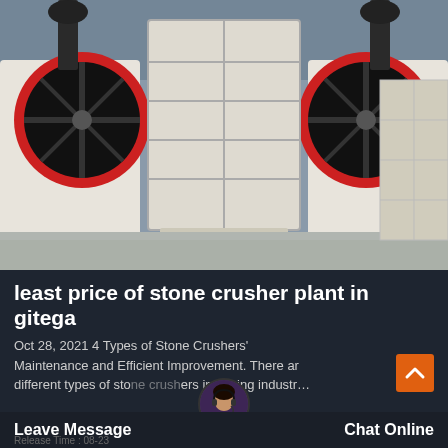[Figure (photo): Industrial stone crusher jaw machine in a factory setting. Large black and red flywheels on either side, a central white/cream gridded crushing jaw structure, on a concrete floor.]
least price of stone crusher plant in gitega
Oct 28, 2021 4 Types of Stone Crushers' Maintenance and Efficient Improvement. There are different types of stone crushers in mining industr…
Leave Message   Chat Online   Release Time : 08-23